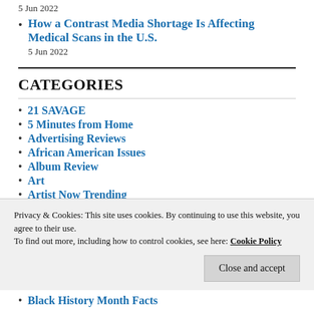5 Jun 2022
How a Contrast Media Shortage Is Affecting Medical Scans in the U.S.
5 Jun 2022
CATEGORIES
21 SAVAGE
5 Minutes from Home
Advertising Reviews
African American Issues
Album Review
Art
Artist Now Trending
Artists on The Verge
Privacy & Cookies: This site uses cookies. By continuing to use this website, you agree to their use.
To find out more, including how to control cookies, see here: Cookie Policy
Black History Month Facts